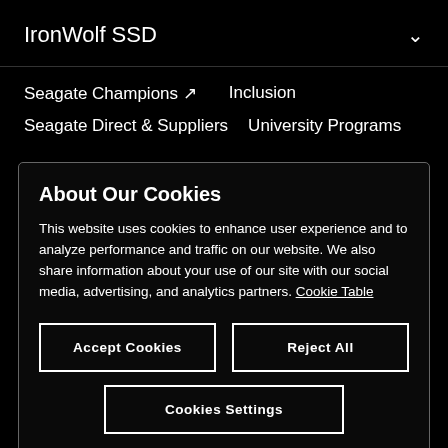IronWolf SSD
Seagate Champions ↗
Inclusion
Seagate Direct & Suppliers
University Programs
About Our Cookies
This website uses cookies to enhance user experience and to analyze performance and traffic on our website. We also share information about your use of our site with our social media, advertising, and analytics partners. Cookie Table
Accept Cookies
Reject All
Cookies Settings